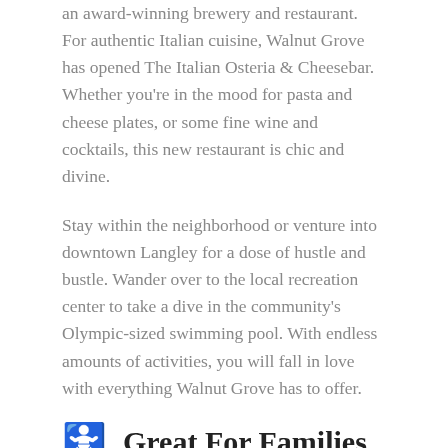an award-winning brewery and restaurant. For authentic Italian cuisine, Walnut Grove has opened The Italian Osteria & Cheesebar. Whether you're in the mood for pasta and cheese plates, or some fine wine and cocktails, this new restaurant is chic and divine.
Stay within the neighborhood or venture into downtown Langley for a dose of hustle and bustle. Wander over to the local recreation center to take a dive in the community's Olympic-sized swimming pool. With endless amounts of activities, you will fall in love with everything Walnut Grove has to offer.
Great For Families
The real estate market in Walnut Grove is a mix of